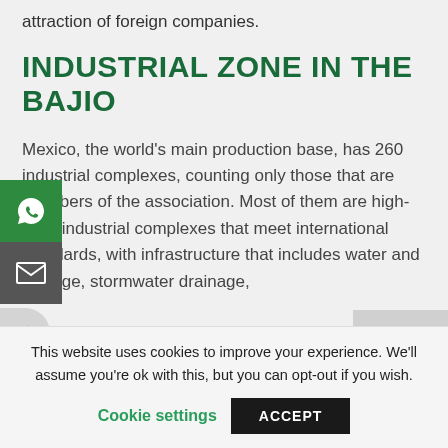attraction of foreign companies.
INDUSTRIAL ZONE IN THE BAJIO
Mexico, the world's main production base, has 260 industrial complexes, counting only those that are members of the association. Most of them are high-level industrial complexes that meet international standards, with infrastructure that includes water and sewage, stormwater drainage,
This website uses cookies to improve your experience. We'll assume you're ok with this, but you can opt-out if you wish.
Cookie settings   ACCEPT